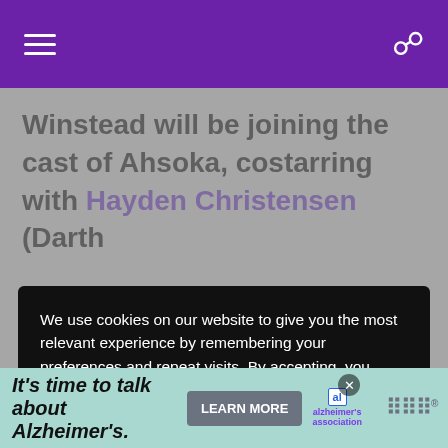Navigation header with hamburger menu and search icon
Winstead will be joining the cast of Ahsoka, costarring with Hayden Christensen (Darth
We use cookies on our website to give you the most relevant experience by remembering your preferences and repeat visits. By accepting, you consent to the use of all the cookies. our privacy policy, disclosure, and terms.
Accept
It's time to talk about Alzheimer's. LEARN MORE